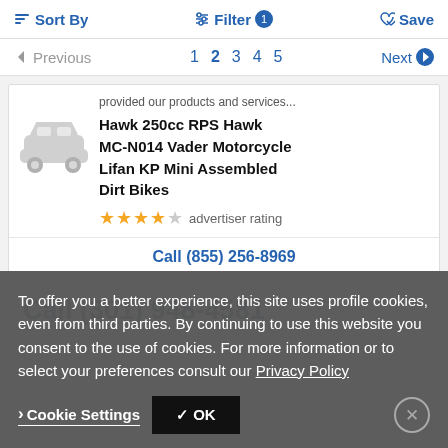Sort By | Filter 1 | Save
Previous 1 2 3 4 5 Next
provided our products and services...
Hawk 250cc RPS Hawk MC-N014 Vader Motorcycle Lifan KP Mini Assembled Dirt Bikes
★★★★☆ advertiser rating
Call (855) 256-8969
Call (301) 948-4581
To offer you a better experience, this site uses profile cookies, even from third parties. By continuing to use this website you consent to the use of cookies. For more information or to select your preferences consult our Privacy Policy
Cookie Settings | ✓ OK